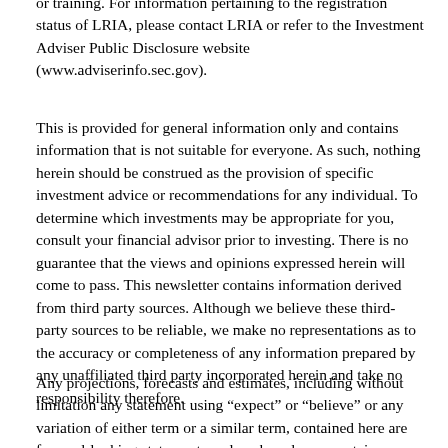or training. For information pertaining to the registration status of LRIA, please contact LRIA or refer to the Investment Adviser Public Disclosure website (www.adviserinfo.sec.gov).
This is provided for general information only and contains information that is not suitable for everyone. As such, nothing herein should be construed as the provision of specific investment advice or recommendations for any individual. To determine which investments may be appropriate for you, consult your financial advisor prior to investing. There is no guarantee that the views and opinions expressed herein will come to pass. This newsletter contains information derived from third party sources. Although we believe these third-party sources to be reliable, we make no representations as to the accuracy or completeness of any information prepared by any unaffiliated third party incorporated herein and take no responsibility therefore.
Any projections, forecasts and estimates, including without limitation any statement using “expect” or “believe” or any variation of either term or a similar term, contained here are forward-looking statements and are based upon certain